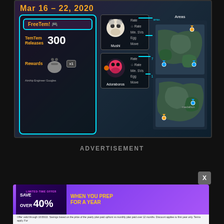[Figure (screenshot): TemTem game FreeTem event banner showing Mar 16-22 2020 date, FreeTem section with 300 Temtem Releases and rewards (Airship Engineer Googles x1), two Temtem cards (Mushi with Rate 80%, SV Rate x3, Min SVs 0, Egg Move 10% and Adoraboros with Rate 70%, SV Rate x2, Min SVs 0, Egg Move 10%), and a map showing Areas on the right side.]
ADVERTISEMENT
[Figure (screenshot): Advertisement banner with X close button. Shows LIMITED-TIME OFFER: SAVE OVER 40% WHEN YOU PREP FOR A YEAR in purple/yellow gradient. Small print: Offer valid through 10/30/22. Savings based on the price of the yearly plan paid upfront vs monthly plan paid over 12 months. Discount applies to first year only. Terms apply. For]